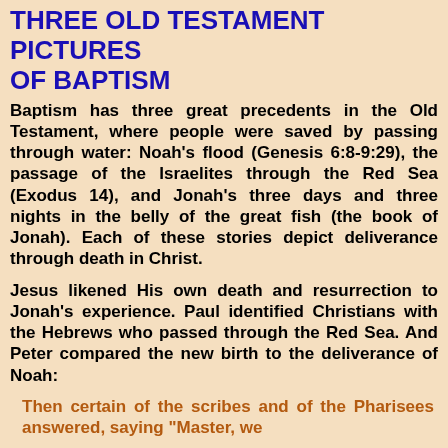THREE OLD TESTAMENT PICTURES OF BAPTISM
Baptism has three great precedents in the Old Testament, where people were saved by passing through water: Noah's flood (Genesis 6:8-9:29), the passage of the Israelites through the Red Sea (Exodus 14), and Jonah's three days and three nights in the belly of the great fish (the book of Jonah). Each of these stories depict deliverance through death in Christ.
Jesus likened His own death and resurrection to Jonah's experience. Paul identified Christians with the Hebrews who passed through the Red Sea. And Peter compared the new birth to the deliverance of Noah:
Then certain of the scribes and of the Pharisees answered, saying "Master, we